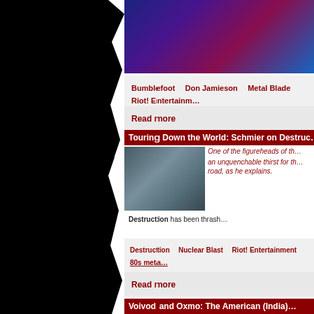[Figure (photo): Band photo at top, partially visible, showing performers on stage with blue/purple lighting]
Bumblefoot   Don Jamieson   Metal Blade   Riot! Entertainment
Read more
Touring Down the World: Schmier on Destruction...
[Figure (photo): Photo of the band Destruction, three members in metal attire with dramatic background]
One of the figureheads of the ... an unquenchable thirst for th... road, as he explains.
Destruction has been thrash...
Destruction   Nuclear Blast   Riot! Entertainment   80s metal
Kreator   Mille Petrozza   Schmeir   Sodom   thrash metal
Read more
Voivod and Oxmo: The American (India)...
[Figure (photo): Partially visible photo at the bottom]
When is the last time you he...